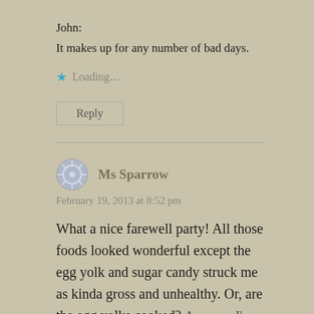John:
It makes up for any number of bad days.
Loading…
Reply
Ms Sparrow
February 19, 2013 at 8:52 pm
What a nice farewell party! All those foods looked wonderful except the egg yolk and sugar candy struck me as kinda gross and unhealthy. Or, are the egg yolks cooked? Anyway, I'm going to google a recipe for